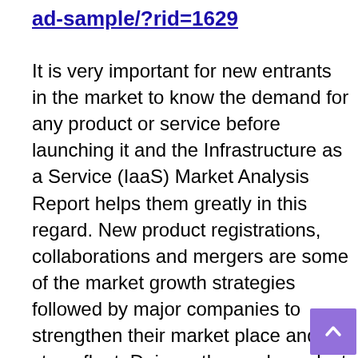ad-sample/?rid=1629
It is very important for new entrants in the market to know the demand for any product or service before launching it and the Infrastructure as a Service (IaaS) Market Analysis Report helps them greatly in this regard. New product registrations, collaborations and mergers are some of the market growth strategies followed by major companies to strengthen their market place and stay afloat. Doing a thorough product review is possible for key organizations in an effort to improve their market value. This Infrastructure as a Service (IaaS) Market report proceeds to capture major disruptions caused in the growth of each industry vertical due to the COVID-19 plague. It also provides information on the global market scenario, latest market trends, business outlook and most important competitive analysis for the evaluation period 2022-2029.